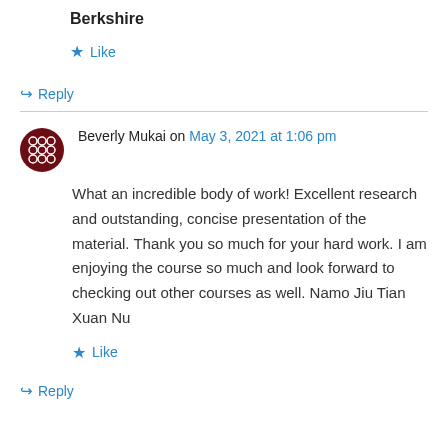Berkshire
★ Like
↪ Reply
Beverly Mukai on May 3, 2021 at 1:06 pm
What an incredible body of work! Excellent research and outstanding, concise presentation of the material. Thank you so much for your hard work. I am enjoying the course so much and look forward to checking out other courses as well. Namo Jiu Tian Xuan Nu
★ Like
↪ Reply